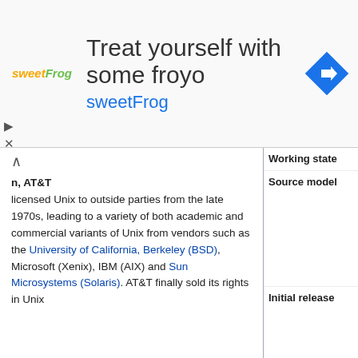[Figure (advertisement): SweetFrog frozen yogurt advertisement banner with logo, text 'Treat yourself with some froyo sweetFrog', and navigation icon]
n, AT&T licensed Unix to outside parties from the late 1970s, leading to a variety of both academic and commercial variants of Unix from vendors such as the University of California, Berkeley (BSD), Microsoft (Xenix), IBM (AIX) and Sun Microsystems (Solaris). AT&T finally sold its rights in Unix
| Property | Value |
| --- | --- |
| Working state | Current |
| Source model | Historically closed-source, while some Unix projects (including BSD family and Illumos) are open-source |
| Initial release | Development started in 1969; 46 years ago
First manual published internally in November 1971[1]
Announced outside Bell Labs in October 1973[2] |
| Available in | English |
| Kernel type | Monolithic |
| Default user interface | Command-line interface and Graphical (X Window System) |
| License | Varies; some versions |